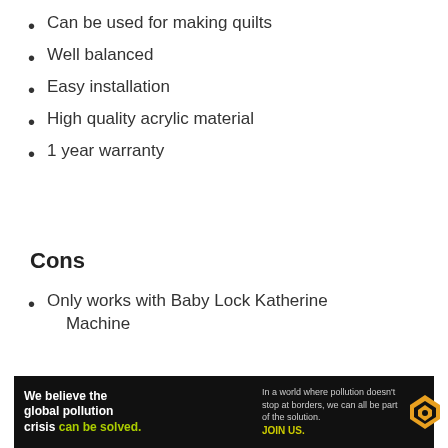Can be used for making quilts
Well balanced
Easy installation
High quality acrylic material
1 year warranty
Cons
Only works with Baby Lock Katherine Machine
[Figure (other): Advertisement banner for Pure Earth organization. Black background with text: 'We believe the global pollution crisis can be solved.' and 'In a world where pollution doesn't stop at borders, we can all be part of the solution. JOIN US.' with Pure Earth logo on right.]